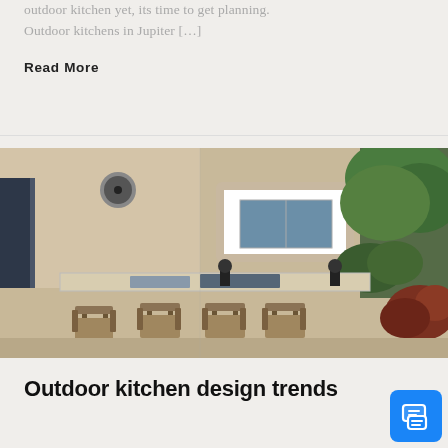outdoor kitchen yet, its time to get planning. Outdoor kitchens in Jupiter […]
Read More
[Figure (photo): Outdoor kitchen area with bar seating, patio chairs, stone countertop bar, wall-mounted light fixtures, a window, lush green trees and red-leafed plants in background]
Outdoor kitchen design trends